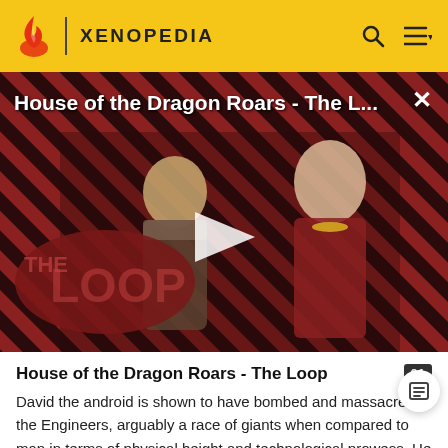XENOPEDIA
[Figure (screenshot): Video thumbnail for 'House of the Dragon Roars - The Loop' showing two characters against a diagonal red and black striped background with 'THE LOOP' text overlay and a play button]
House of the Dragon Roars - The Loop
David the android is shown to have bombed and massacred the Engineers, arguably a race of giants when compared to man in terms of physical height and technological prowess. He then rages a battle